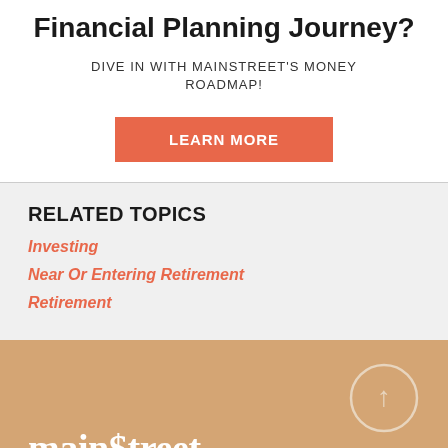Financial Planning Journey?
DIVE IN WITH MAINSTREET'S MONEY ROADMAP!
LEARN MORE
RELATED TOPICS
Investing
Near Or Entering Retirement
Retirement
[Figure (logo): Mainstreet logo in white serif font on tan/caramel background with dollar sign in place of 's', circle with upward arrow icon top right, two orange rectangular buttons at bottom]